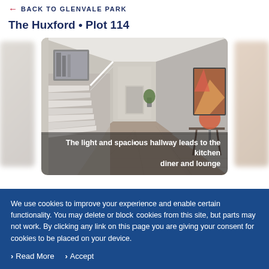← BACK TO GLENVALE PARK
The Huxford • Plot 114
[Figure (photo): Interior hallway of a new-build home showing carpeted stairs, warm wood-effect flooring, framed artwork on walls, and a glimpse of a lounge area. Blurred images of other rooms visible on the sides.]
The light and spacious hallway leads to the kitchen diner and lounge
We use cookies to improve your experience and enable certain functionality. You may delete or block cookies from this site, but parts may not work. By clicking any link on this page you are giving your consent for cookies to be placed on your device.
Read More
Accept